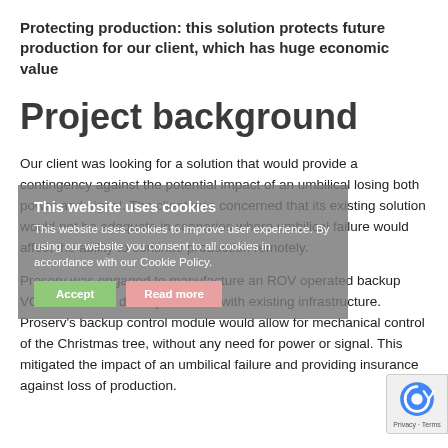Protecting production: this solution protects future production for our client, which has huge economic value
Project background
Our client was looking for a solution that would provide a contingency against the potential impact of an umbilical losing both power and signal. The client was concerned that its existing solution would not be adequate in scenarios where umbilical failure would affect the ability to continue production remotely.
Proserv was engaged to manufacture an ROV operated backup VCM that would directly interface with existing infrastructure. Proserv's backup control module would allow for mechanical control of the Christmas tree, without any need for power or signal. This mitigated the impact of an umbilical failure and providing insurance against loss of production.